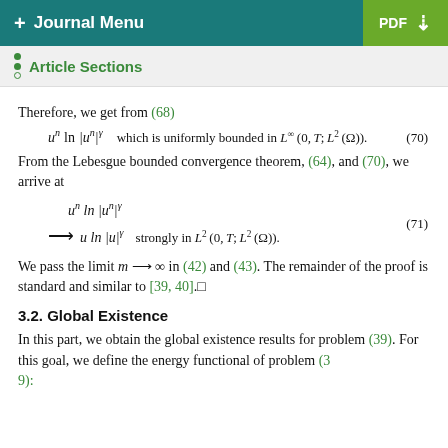+ Journal Menu   PDF ↓
Article Sections
Therefore, we get from (68)
From the Lebesgue bounded convergence theorem, (64), and (70), we arrive at
We pass the limit m → ∞ in (42) and (43). The remainder of the proof is standard and similar to [39, 40].□
3.2. Global Existence
In this part, we obtain the global existence results for problem (39). For this goal, we define the energy functional of problem (39):